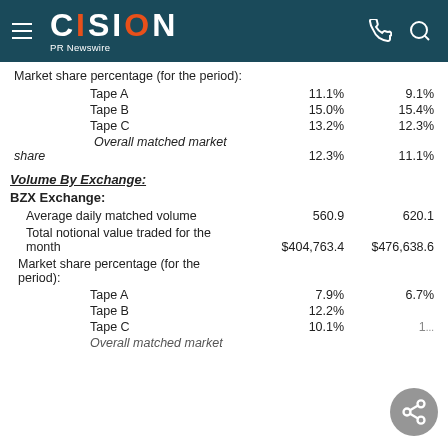CISION PR Newswire
|  |  |  |
| --- | --- | --- |
| Market share percentage (for the period): |  |  |
| Tape A | 11.1% | 9.1% |
| Tape B | 15.0% | 15.4% |
| Tape C | 13.2% | 12.3% |
| Overall matched market share | 12.3% | 11.1% |
Volume By Exchange:
BZX Exchange:
|  |  |  |
| --- | --- | --- |
| Average daily matched volume | 560.9 | 620.1 |
| Total notional value traded for the month | $404,763.4 | $476,638.6 |
| Market share percentage (for the period): |  |  |
| Tape A | 7.9% | 6.7% |
| Tape B | 12.2% |  |
| Tape C | 10.1% | 1... |
| Overall matched market |  |  |